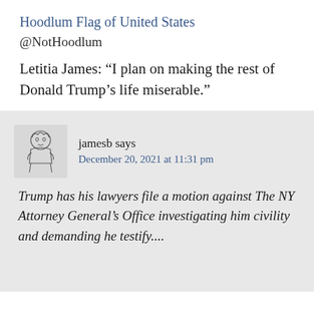Hoodlum Flag of United States
@NotHoodlum
Letitia James: “I plan on making the rest of Donald Trump’s life miserable.”
jamesb says
December 20, 2021 at 11:31 pm
Trump has his lawyers file a motion against The NY Attorney General’s Office investigating him civility and demanding he testify....